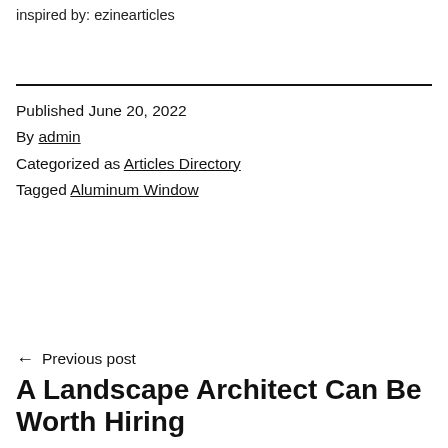inspired by: ezinearticles
Published June 20, 2022
By admin
Categorized as Articles Directory
Tagged Aluminum Window
← Previous post
A Landscape Architect Can Be Worth Hiring